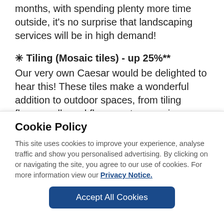months, with spending plenty more time outside, it's no surprise that landscaping services will be in high demand!
✳ Tiling (Mosaic tiles) - up 25%**
Our very own Caesar would be delighted to hear this! These tiles make a wonderful addition to outdoor spaces, from tiling floors, walls and flower pots, mosaic tiles...
Cookie Policy
This site uses cookies to improve your experience, analyse traffic and show you personalised advertising. By clicking on or navigating the site, you agree to our use of cookies. For more information view our Privacy Notice.